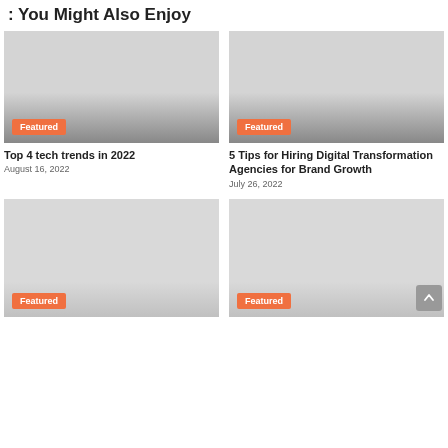: You Might Also Enjoy
[Figure (photo): Gray placeholder image with Featured badge, for article: Top 4 tech trends in 2022]
Top 4 tech trends in 2022
August 16, 2022
[Figure (photo): Gray placeholder image with Featured badge, for article: 5 Tips for Hiring Digital Transformation Agencies for Brand Growth]
5 Tips for Hiring Digital Transformation Agencies for Brand Growth
July 26, 2022
[Figure (photo): Gray placeholder image with Featured badge, bottom left card]
[Figure (photo): Gray placeholder image with Featured badge, bottom right card]